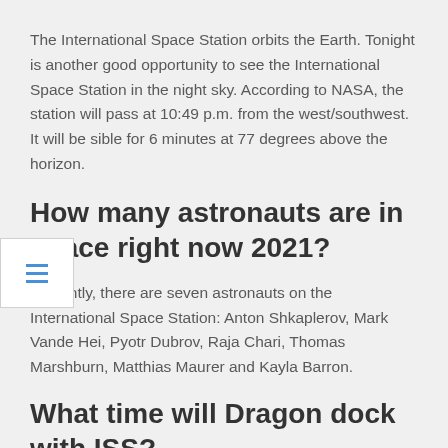The International Space Station orbits the Earth. Tonight is another good opportunity to see the International Space Station in the night sky. According to NASA, the station will pass at 10:49 p.m. from the west/southwest. It will be visible for 6 minutes at 77 degrees above the horizon.
How many astronauts are in space right now 2021?
Currently, there are seven astronauts on the International Space Station: Anton Shkaplerov, Mark Vande Hei, Pyotr Dubrov, Raja Chari, Thomas Marshburn, Matthias Maurer and Kayla Barron.
What time will Dragon dock with ISS?
SpaceX's Crew Dragon capsule, nicknamed Endurance, docked with the orbital lab at 6:32 p.m. Eastern time